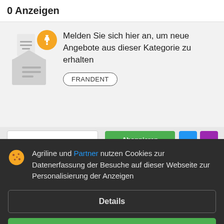0 Anzeigen
Melden Sie sich hier an, um neue Angebote aus dieser Kategorie zu erhalten
FRANDENT
Agriline und Partner nutzen Cookies zur Datenerfassung der Besuche auf dieser Webseite zur Personalisierung der Anzeigen
Details
Akzeptieren und schließen